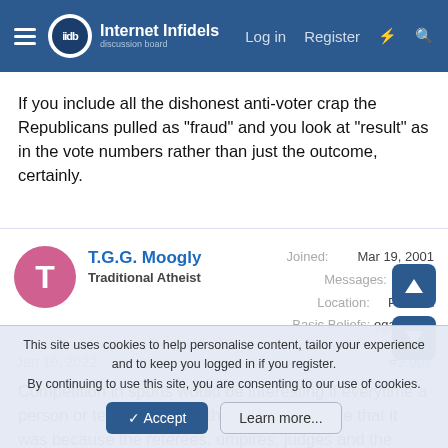Internet Infidels — Log in  Register
If you include all the dishonest anti-voter crap the Republicans pulled as "fraud" and you look at "result" as in the vote numbers rather than just the outcome, certainly.
T.G.G. Moogly
Traditional Atheist
Joined: Mar 19, 2001
Messages: 9,077
Location: PA USA
Basic Beliefs: egalitarian
Jan 10, 2022  #2,007
Competition in sports would be interesting if everytime a person or team lost close the claim was made that it was because the referees, umpires, judges and the opponent cheated. Most organizations have rules that address such behavior but not
This site uses cookies to help personalise content, tailor your experience and to keep you logged in if you register.
By continuing to use this site, you are consenting to our use of cookies.